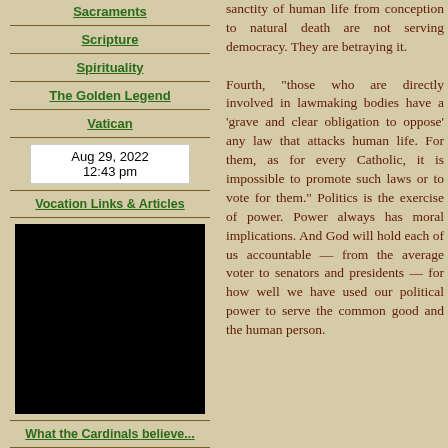Sacraments
Scripture
Spirituality
The Golden Legend
Vatican
Aug 29, 2022 12:43 pm
Vocation Links & Articles
[Figure (photo): Black image/photo block]
What the Cardinals believe...
World Religions
Pope John Paul II In Memoriam
sanctity of human life from conception to natural death are not serving democracy. They are betraying it.

Fourth, "those who are directly involved in lawmaking bodies have a 'grave and clear obligation to oppose' any law that attacks human life. For them, as for every Catholic, it is impossible to promote such laws or to vote for them." Politics is the exercise of power. Power always has moral implications. And God will hold each of us accountable — from the average voter to senators and presidents — for how well we have used our political power to serve the common good and the human person.